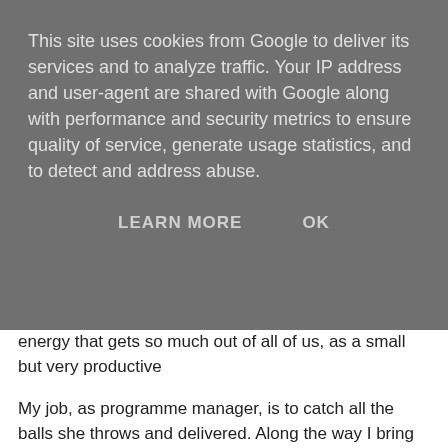This site uses cookies from Google to deliver its services and to analyze traffic. Your IP address and user-agent are shared with Google along with performance and security metrics to ensure quality of service, generate usage statistics, and to detect and address abuse.
LEARN MORE    OK
energy that gets so much out of all of us, as a small but very productive
My job, as programme manager, is to catch all the balls she throws and delivered. Along the way I bring in my various creative and project mana things out.
Then there is our communications and engagement lead, Loren Grant, w coordinating the talents of our creative contractors, organising the nitty g writing publicity and newsletter materials, running up Powerpoints, and g
Telling the world
The NHS is a huge place. Overall it employs 1.4 million people. The onl is the Chinese Army.
It is never therefore enough to just create good strategies and solutions. hard to tell people what you are doing and where to go for expertise. Ev significant task to communicate regularly with 63 NHS organisations.